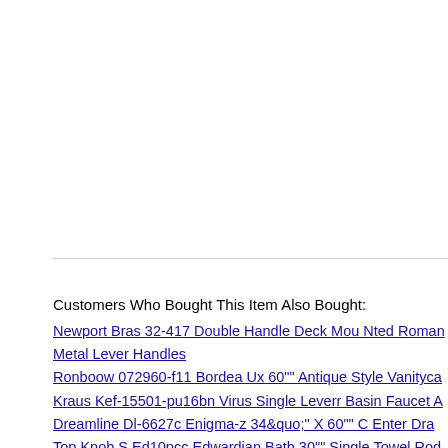Customers Who Bought This Item Also Bought:
Newport Bras 32-417 Double Handle Deck Mou Nted Roman Metal Lever Handles
Ronboow 072960-f11 Bordea Ux 60"" Antique Style Vanityca
Kraus Kef-15501-pu16bn Virus Single Leverr Basin Faucet A
Dreamline Dl-6627c Enigma-z 34&quo;" X 60"" C Enter Dra
Top Knob S Ed10pcc Edwardian Bath 30"" Single Towel Rod
Kohler K-7523-cp Touchless 1.60 Gpf Wave Exposed Hybrid
American Standard 1662.843.002 Flowisesquare Sprinkle A